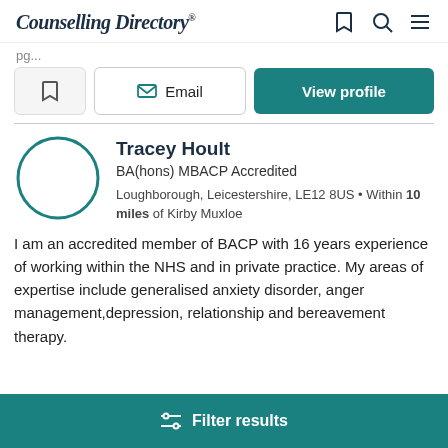Counselling Directory
pg...
[Figure (other): Action buttons: bookmark, Email, View profile]
Tracey Hoult
BA(hons) MBACP Accredited
Loughborough, Leicestershire, LE12 8US • Within 10 miles of Kirby Muxloe
I am an accredited member of BACP with 16 years experience of working within the NHS and in private practice. My areas of expertise include generalised anxiety disorder, anger management,depression, relationship and bereavement therapy.
Filter results